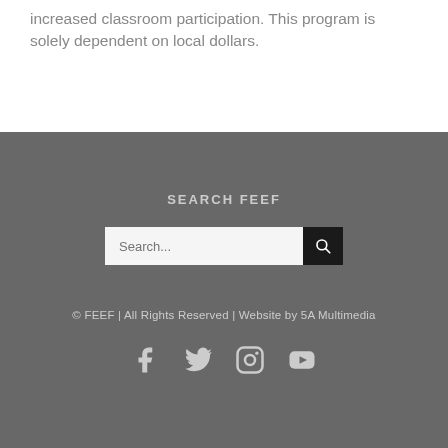increased classroom participation. This program is solely dependent on local dollars.
SEARCH FEEF
[Figure (screenshot): Search bar with text input placeholder 'Search...' and a dark search button with magnifying glass icon]
© FEEF | All Rights Reserved | Website by 5A Multimedia
[Figure (infographic): Social media icons: Facebook, Twitter, Instagram, YouTube]